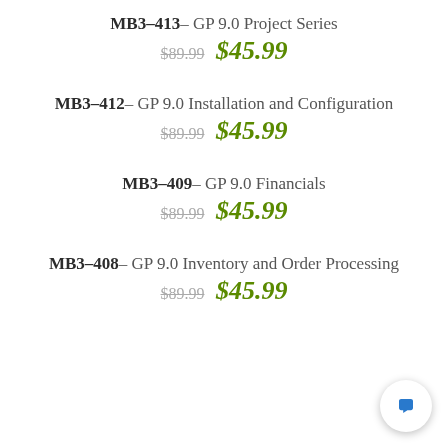MB3-413 - GP 9.0 Project Series
$89.99  $45.99
MB3-412 - GP 9.0 Installation and Configuration
$89.99  $45.99
MB3-409 - GP 9.0 Financials
$89.99  $45.99
MB3-408 - GP 9.0 Inventory and Order Processing
$89.99  $45.99